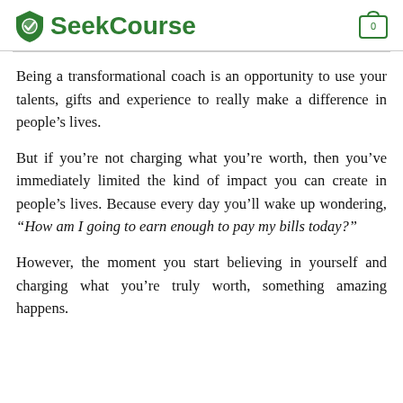SeekCourse
Being a transformational coach is an opportunity to use your talents, gifts and experience to really make a difference in people’s lives.
But if you’re not charging what you’re worth, then you’ve immediately limited the kind of impact you can create in people’s lives. Because every day you’ll wake up wondering, “How am I going to earn enough to pay my bills today?”
However, the moment you start believing in yourself and charging what you’re truly worth, something amazing happens.